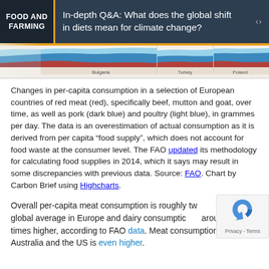FOOD AND FARMING — In-depth Q&A: What does the global shift in diets mean for climate change?
[Figure (area-chart): Partial view of three area charts showing per-capita consumption of red meat, pork, and poultry in European countries (Bulgaria, Turkey, Poland) over time]
Changes in per-capita consumption in a selection of European countries of red meat (red), specifically beef, mutton and goat, over time, as well as pork (dark blue) and poultry (light blue), in grammes per day. The data is an overestimation of actual consumption as it is derived from per capita “food supply”, which does not account for food waste at the consumer level. The FAO updated its methodology for calculating food supplies in 2014, which it says may result in some discrepancies with previous data. Source: FAO. Chart by Carbon Brief using Highcharts.
Overall per-capita meat consumption is roughly twice the global average in Europe and dairy consumption around three times higher, according to FAO data. Meat consumption in Australia and the US is even higher.